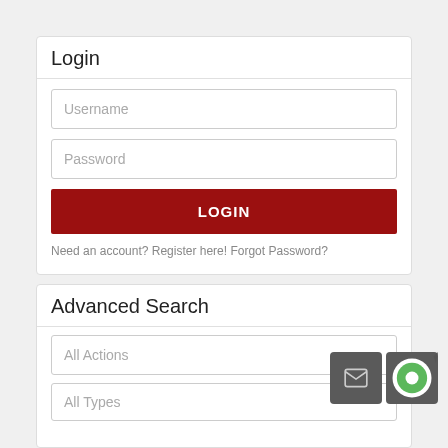Login
Username
Password
LOGIN
Need an account? Register here! Forgot Password?
Advanced Search
All Actions
All Types